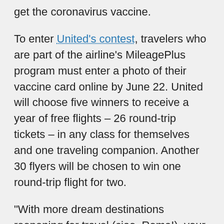get the coronavirus vaccine.
To enter United's contest, travelers who are part of the airline's MileagePlus program must enter a photo of their vaccine card online by June 22. United will choose five winners to receive a year of free flights – 26 round-trip tickets – in any class for themselves and one traveling companion. Another 30 flyers will be chosen to win one round-trip flight for two.
“With more dream destinations reopening for travel (ciao, Roma!), your COVID-19 vaccine is your ticket to the world,” the United promotion reads.
When it comes to convincing people to get vaccinated, there is evidence that the carrot works better than the stick.
Roughly a third of respondents in a recent survey by the